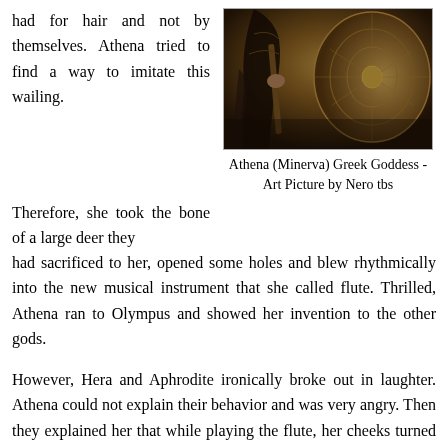had for hair and not by themselves. Athena tried to find a way to imitate this wailing.
[Figure (illustration): Athena (Minerva) Greek Goddess artwork - digital art illustration showing figure in armor holding a shield, dark golden tones, by Nero tbs]
Athena (Minerva) Greek Goddess - Art Picture by Nero tbs
Therefore, she took the bone of a large deer they had sacrificed to her, opened some holes and blew rhythmically into the new musical instrument that she called flute. Thrilled, Athena ran to Olympus and showed her invention to the other gods.
However, Hera and Aphrodite ironically broke out in laughter. Athena could not explain their behavior and was very angry. Then they explained her that while playing the flute, her cheeks turned red and big, disfiguring her face and it was very funny. The stubborn goddess ran into a creek and mirrored herself in the waters while playing the flute. Athena immediately understood that